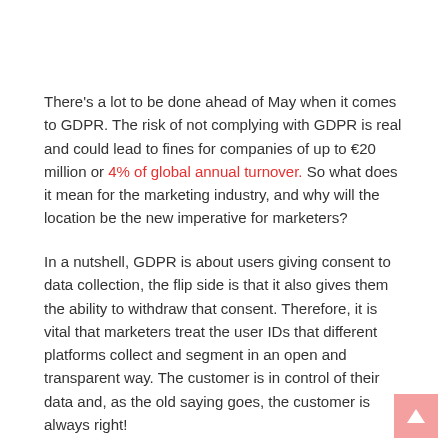There's a lot to be done ahead of May when it comes to GDPR. The risk of not complying with GDPR is real and could lead to fines for companies of up to €20 million or 4% of global annual turnover. So what does it mean for the marketing industry, and why will the location be the new imperative for marketers?
In a nutshell, GDPR is about users giving consent to data collection, the flip side is that it also gives them the ability to withdraw that consent. Therefore, it is vital that marketers treat the user IDs that different platforms collect and segment in an open and transparent way. The customer is in control of their data and, as the old saying goes, the customer is always right!